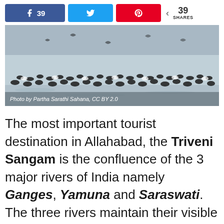[Figure (screenshot): Social share bar with Facebook (39), Twitter, and Pinterest buttons, plus a share count of 39 SHARES]
[Figure (photo): A flock of birds (seagulls/shorebirds) on or near water, with caption: Photo by Partha Sarathi Sahana, CC BY 2.0]
Photo by Partha Sarathi Sahana, CC BY 2.0
The most important tourist destination in Allahabad, the Triveni Sangam is the confluence of the 3 major rivers of India namely Ganges, Yamuna and Saraswati. The three rivers maintain their visible identity and can be identified